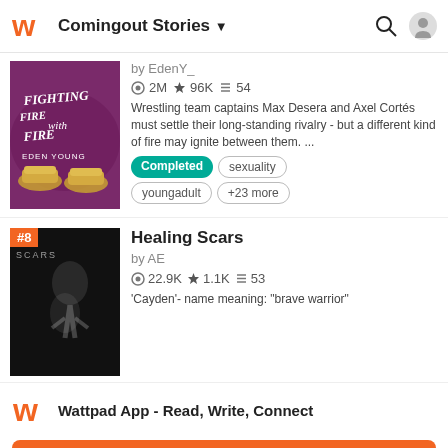Comingout Stories
[Figure (screenshot): Book cover for 'Fighting Fire with Fire' by Eden Young — purple/maroon background with gold sneakers]
by EdenY_
2M ★96K ≡54
Wrestling team captains Max Desera and Axel Cortés must settle their long-standing rivalry - but a different kind of fire may ignite between them. ...
Completed
sexuality
youngadult
+23 more
Healing Scars
by AE
22.9K ★1.1K ≡53
'Cayden'- name meaning: "brave warrior"
[Figure (screenshot): Book cover for 'Healing Scars' — dark background with a figure/person silhouette, rank badge #8]
Wattpad App - Read, Write, Connect
Start Reading
Log in with Browser